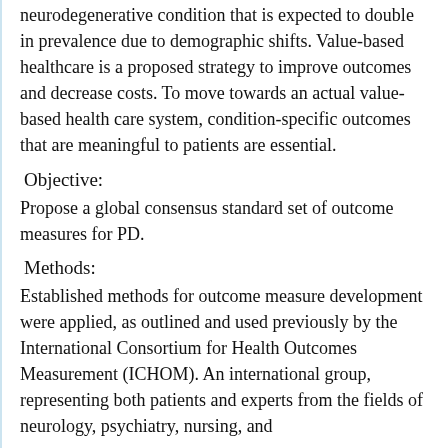neurodegenerative condition that is expected to double in prevalence due to demographic shifts. Value-based healthcare is a proposed strategy to improve outcomes and decrease costs. To move towards an actual value-based health care system, condition-specific outcomes that are meaningful to patients are essential.
Objective:
Propose a global consensus standard set of outcome measures for PD.
Methods:
Established methods for outcome measure development were applied, as outlined and used previously by the International Consortium for Health Outcomes Measurement (ICHOM). An international group, representing both patients and experts from the fields of neurology, psychiatry, nursing, and